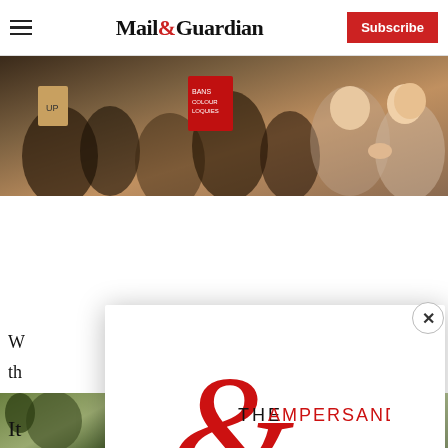Mail&Guardian | Subscribe
[Figure (photo): Crowd of protesters holding signs at a demonstration, colorful signs visible including red signs]
W...t
th...
[Figure (photo): Partial photo of person at bottom left]
[Figure (screenshot): Modal popup newsletter signup for The Ampersand newsletter. Contains logo, tagline 'Stay informed. Every weekday.', email input field, and Signup now button.]
Stay informed. Every weekday.
E-mail Address
Signup now
It